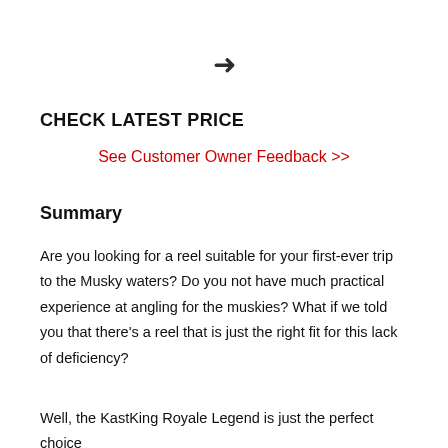[Figure (other): A right-pointing arrow icon centered on the page]
CHECK LATEST PRICE
See Customer Owner Feedback >>
Summary
Are you looking for a reel suitable for your first-ever trip to the Musky waters? Do you not have much practical experience at angling for the muskies? What if we told you that there's a reel that is just the right fit for this lack of deficiency?
Well, the KastKing Royale Legend is just the perfect choice